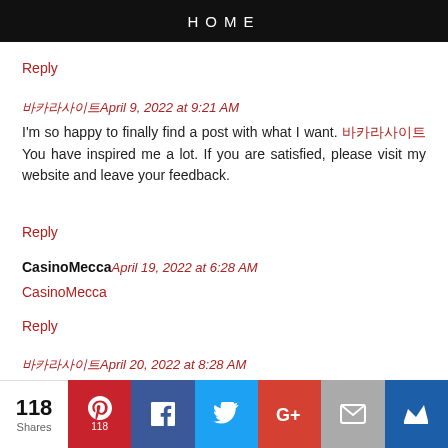HOME
Reply
바카라사이트April 9, 2022 at 9:21 AM
I'm so happy to finally find a post with what I want. 바카라사이트 You have inspired me a lot. If you are satisfied, please visit my website and leave your feedback.
Reply
CasinoMeccaApril 19, 2022 at 6:28 AM
CasinoMecca
Reply
바카라사이트April 20, 2022 at 8:28 AM
바카라사이트
[Figure (infographic): Social share bar with 118 shares: Pinterest (118), Facebook, Twitter, Google+, Email, Crown/bookmark buttons]